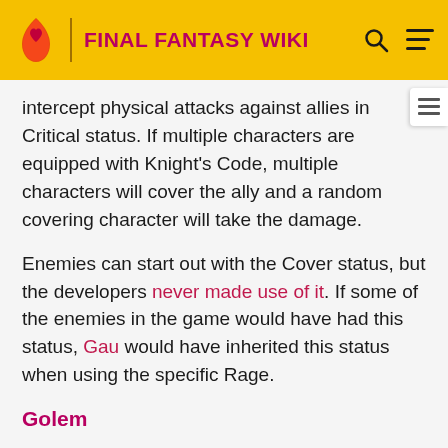FINAL FANTASY WIKI
intercept physical attacks against allies in Critical status. If multiple characters are equipped with Knight's Code, multiple characters will cover the ally and a random covering character will take the damage.
Enemies can start out with the Cover status, but the developers never made use of it. If some of the enemies in the game would have had this status, Gau would have inherited this status when using the specific Rage.
Golem
This status is not named in-game. The summon Golem places this status on every party members in the party during battle. After he has been summoned, his hand will protect the party and block any physical attack the